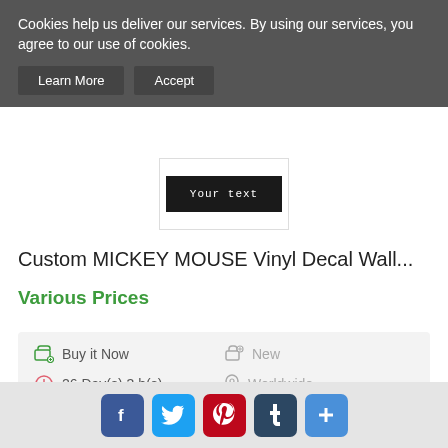Cookies help us deliver our services. By using our services, you agree to our use of cookies.
Learn More | Accept
[Figure (photo): Product preview image showing 'YOUR TEXT' on a dark background label]
Custom MICKEY MOUSE Vinyl Decal Wall...
Various Prices
Buy it Now | New | 26 Day(s) 3 h(s) | Worldwide | 5 days | No Returns
Buy it Now (green button)
[Figure (photo): Product image showing a vinyl decal with fleur-de-lis style design on dark background]
[Figure (infographic): Social media sharing icons: Facebook, Twitter, Pinterest, Tumblr, and a plus/share button]